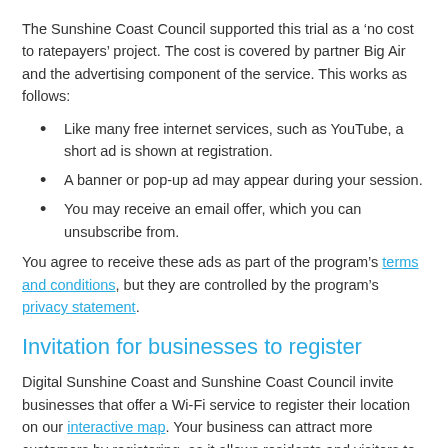The Sunshine Coast Council supported this trial as a ‘no cost to ratepayers’ project. The cost is covered by partner Big Air and the advertising component of the service. This works as follows:
Like many free internet services, such as YouTube, a short ad is shown at registration.
A banner or pop-up ad may appear during your session.
You may receive an email offer, which you can unsubscribe from.
You agree to receive these ads as part of the program’s terms and conditions, but they are controlled by the program’s privacy statement.
Invitation for businesses to register
Digital Sunshine Coast and Sunshine Coast Council invite businesses that offer a Wi-Fi service to register their location on our interactive map. Your business can attract more customers by registering, as it allows residents and visitors to quickly locate and access their nearest